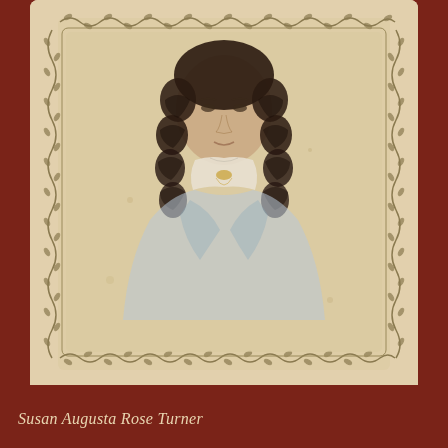[Figure (photo): Antique carte-de-visite portrait photograph of a young woman named Susan Augusta Rose Turner. She has long dark ringlet curls on both sides of her face and wears a light-colored dress with a white collar. The photo has a sepia/beige tone with slight hand coloring (blue on dress, yellow at collar). The card has an ornate decorative border with scrolling vine and leaf motifs around the edges.]
Susan Augusta Rose Turner